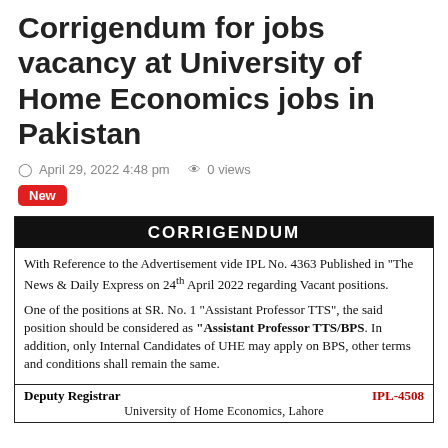Corrigendum for jobs vacancy at University of Home Economics jobs in Pakistan
April 29, 2022 4:48 pm   0 views
New
[Figure (other): Official corrigendum notice from University of Home Economics. Header: CORRIGENDUM (white text on black). Body text: With Reference to the Advertisement vide IPL No. 4363 Published in "The News & Daily Express on 24th April 2022 regarding Vacant positions. One of the positions at SR. No. 1 "Assistant Professor TTS", the said position should be considered as "Assistant Professor TTS/BPS". In addition, only Internal Candidates of UHE may apply on BPS, other terms and conditions shall remain the same. Footer: Deputy Registrar | IPL-4508. Sub-footer: University of Home Economics, Lahore.]